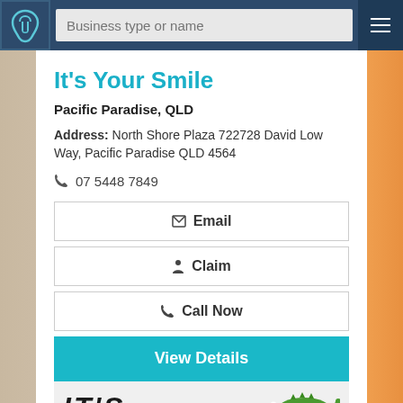[Figure (screenshot): Navigation bar with dental logo, search bar placeholder 'Business type or name', and hamburger menu]
It's Your Smile
Pacific Paradise, QLD
Address: North Shore Plaza 722728 David Low Way, Pacific Paradise QLD 4564
07 5448 7849
Email
Claim
Call Now
View Details
[Figure (logo): It's Your Smile business logo with crocodile graphic, partially visible at bottom]